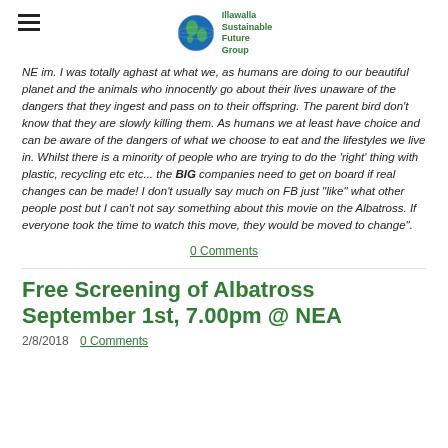Illawalla Sustainable Future Group
NE im. I was totally aghast at what we, as humans are doing to our beautiful planet and the animals who innocently go about their lives unaware of the dangers that they ingest and pass on to their offspring. The parent bird don't know that they are slowly killing them. As humans we at least have choice and can be aware of the dangers of what we choose to eat and the lifestyles we live in. Whilst there is a minority of people who are trying to do the 'right' thing with plastic, recycling etc etc... the BIG companies need to get on board if real changes can be made! I don't usually say much on FB just "like" what other people post but I can't not say something about this movie on the Albatross. If everyone took the time to watch this move, they would be moved to change".
0 Comments
Free Screening of Albatross September 1st, 7.00pm @ NEA
2/8/2018   0 Comments